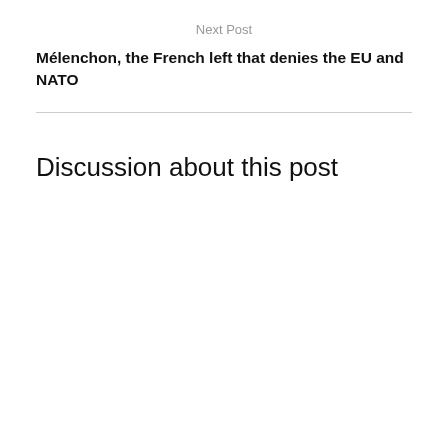Next Post
Mélenchon, the French left that denies the EU and NATO
Discussion about this post